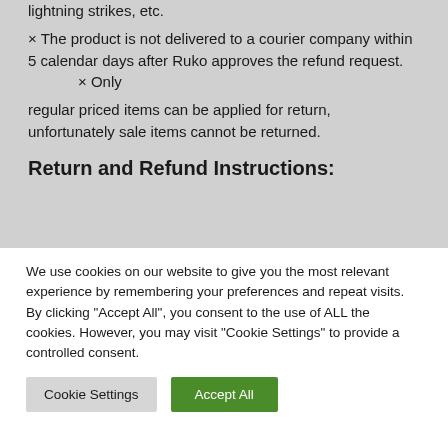lightning strikes, etc.
× The product is not delivered to a courier company within 5 calendar days after Ruko approves the refund request.
× Only regular priced items can be applied for return, unfortunately sale items cannot be returned.
Return and Refund Instructions:
We use cookies on our website to give you the most relevant experience by remembering your preferences and repeat visits. By clicking "Accept All", you consent to the use of ALL the cookies. However, you may visit "Cookie Settings" to provide a controlled consent.